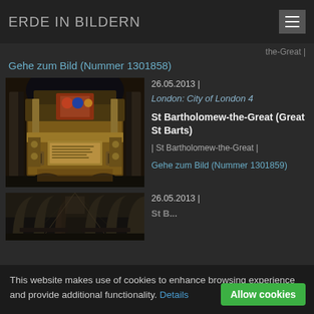ERDE IN BILDERN
the-Great |
Gehe zum Bild (Nummer 1301858)
[Figure (photo): Interior of St Bartholomew-the-Great church showing an ornate gilded tomb monument with carved decorations, heraldic shields, and a brass plaque, flanked by stone columns and lit from below]
26.05.2013 |
London: City of London 4
St Bartholomew-the-Great (Great St Barts)
| St Bartholomew-the-Great |
Gehe zum Bild (Nummer 1301859)
[Figure (photo): Interior nave of a large Gothic church with high vaulted ceiling and rows of arches]
26.05.2013 |
St B...
This website makes use of cookies to enhance browsing experience and provide additional functionality. Details
Allow cookies